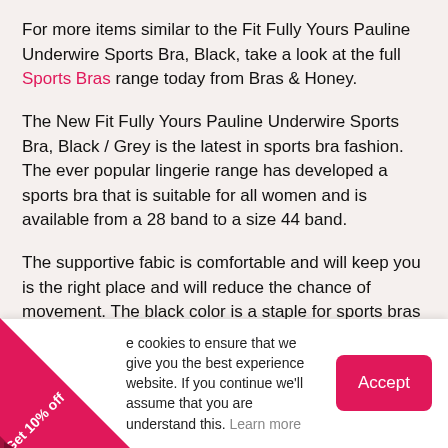For more items similar to the Fit Fully Yours Pauline Underwire Sports Bra, Black, take a look at the full Sports Bras range today from Bras & Honey.
The New Fit Fully Yours Pauline Underwire Sports Bra, Black / Grey is the latest in sports bra fashion. The ever popular lingerie range has developed a sports bra that is suitable for all women and is available from a 28 band to a size 44 band.
The supportive fabic is comfortable and will keep you is the right place and will reduce the chance of movement. The black color is a staple for sports bras and have the added gray tones to give the Pauline a more fashionable look. The black color will suit most styles and will suit all skin tones. The Pauline bra has a rear hook and eve that closure and are secure. they also give you the
e cookies to ensure that we give you the best experience website. If you continue we'll assume that you are understand this. Learn more